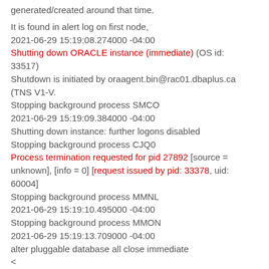generated/created around that time.
It is found in alert log on first node,
2021-06-29 15:19:08.274000 -04:00
Shutting down ORACLE instance (immediate) (OS id: 33517)
Shutdown is initiated by oraagent.bin@rac01.dbaplus.ca (TNS V1-V.
Stopping background process SMCO
2021-06-29 15:19:09.384000 -04:00
Shutting down instance: further logons disabled
Stopping background process CJQ0
Process termination requested for pid 27892 [source = unknown], [info = 0] [request issued by pid: 33378, uid: 60004]
Stopping background process MMNL
2021-06-29 15:19:10.495000 -04:00
Stopping background process MMON
2021-06-29 15:19:13.709000 -04:00
alter pluggable database all close immediate
<